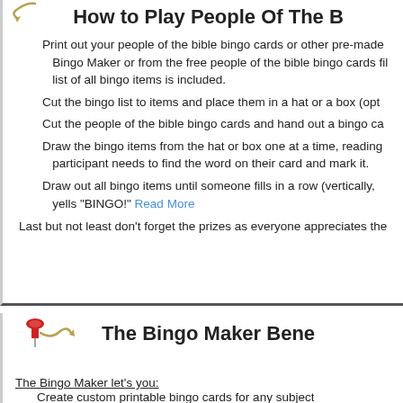[Figure (illustration): Decorative pin/tack icon with curved line at top left of first section]
How to Play People Of The B
Print out your people of the bible bingo cards or other pre-made Bingo Maker or from the free people of the bible bingo cards fil list of all bingo items is included.
Cut the bingo list to items and place them in a hat or a box (opt
Cut the people of the bible bingo cards and hand out a bingo ca
Draw the bingo items from the hat or box one at a time, reading participant needs to find the word on their card and mark it.
Draw out all bingo items until someone fills in a row (vertically, yells "BINGO!" Read More
Last but not least don't forget the prizes as everyone appreciates the
[Figure (illustration): Red pushpin/tack icon with decorative curved line at top of second section]
The Bingo Maker Bene
The Bingo Maker let's you:
Create custom printable bingo cards for any subject